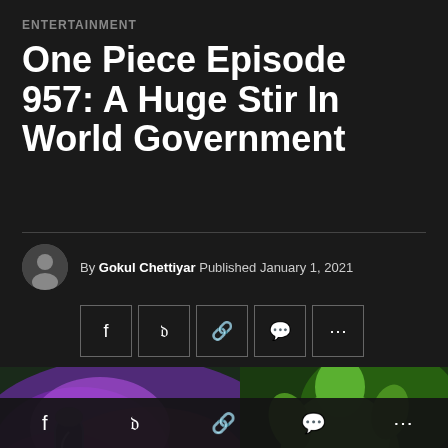ENTERTAINMENT
One Piece Episode 957: A Huge Stir In World Government
By Gokul Chettiyar Published January 1, 2021
[Figure (infographic): Social share buttons: Facebook (f), Twitter (bird), link (chain), comment (speech bubble), more (...)]
[Figure (illustration): Anime artwork showing purple/pink magical energy on the left side and a green-haired character (Zoro from One Piece) on the right side]
[Figure (infographic): Bottom social share bar with icons: Facebook (f), Twitter (bird), link (chain), comment (speech bubble), more (...)]